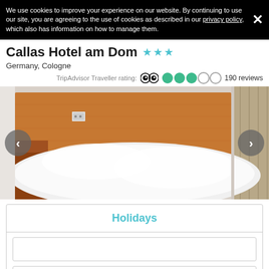We use cookies to improve your experience on our website. By continuing to use our site, you are agreeing to the use of cookies as described in our privacy policy, which also has information on how to manage them.
Callas Hotel am Dom ★★★
Germany, Cologne
TripAdvisor Traveller rating: 190 reviews
[Figure (photo): Hotel room photo showing a bed with white bedding and wooden headboard]
Holidays
Departure Airport